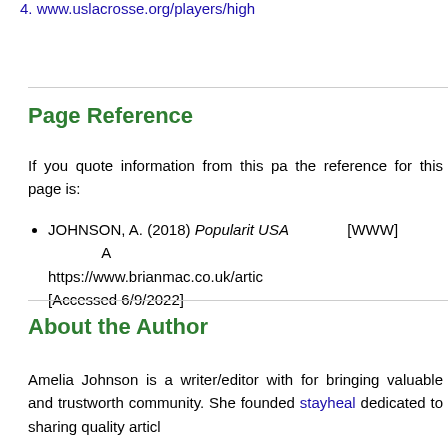4. www.uslacrosse.org/players/high
Page Reference
If you quote information from this pa the reference for this page is:
JOHNSON, A. (2018) Popularit USA [WWW] A https://www.brianmac.co.uk/artic [Accessed 6/9/2022]
About the Author
Amelia Johnson is a writer/editor with for bringing valuable and trustworth community. She founded stayheal dedicated to sharing quality articl